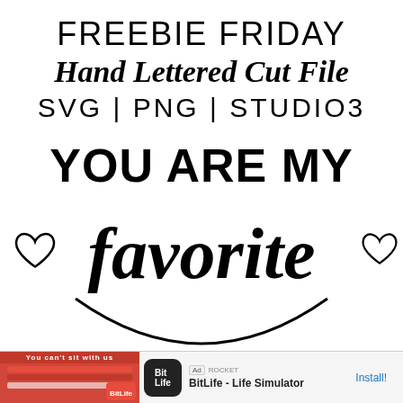FREEBIE FRIDAY
Hand Lettered Cut File
SVG | PNG | STUDIO3
[Figure (illustration): Hand lettered art with text 'YOU ARE MY favorite' with heart decorations on either side of 'favorite' and a circular arc beneath]
[Figure (screenshot): Ad banner at bottom: 'You can't sit with us' app ad on left, BitLife - Life Simulator ad with Install button on right]